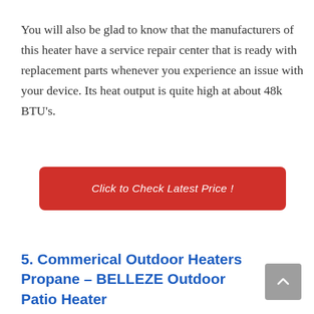You will also be glad to know that the manufacturers of this heater have a service repair center that is ready with replacement parts whenever you experience an issue with your device. Its heat output is quite high at about 48k BTU's.
Click to Check Latest Price !
5. Commerical Outdoor Heaters Propane – BELLEZE Outdoor Patio Heater